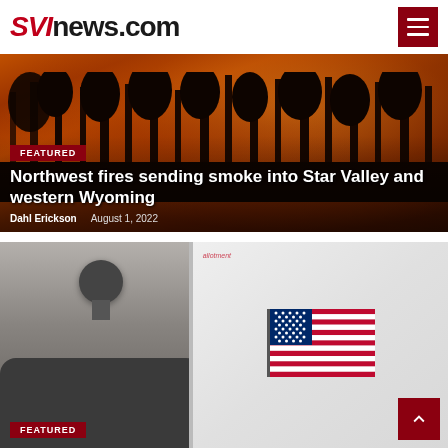SVInews.com
[Figure (photo): Forest fire scene with orange-red glow, smoke and tree silhouettes in background]
FEATURED
Northwest fires sending smoke into Star Valley and western Wyoming
Dahl Erickson  August 1, 2022
[Figure (photo): Person at voting booth with American flag sticker visible]
FEATURED